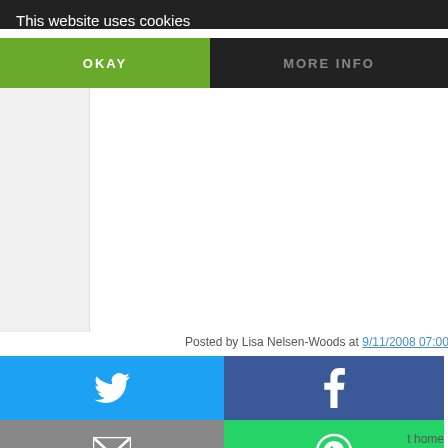This website uses cookies
[Figure (screenshot): Cookie consent bar with OKAY (green) and MORE INFO (dark) buttons]
Posted by Lisa Nelsen-Woods at 9/11/2008 07:00:00 AM    Tags: cra
[Figure (infographic): Social share buttons grid: Twitter (blue), Facebook (dark blue), Email (gray), WhatsApp (green), SMS (blue), copy/share (green)]
t home